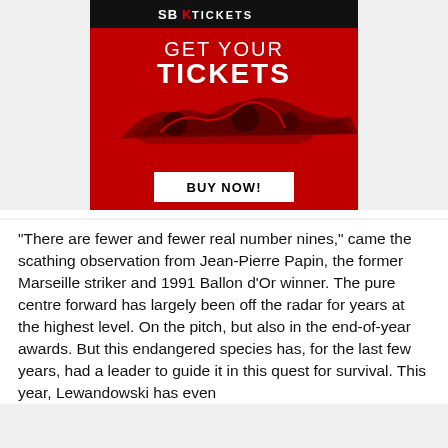[Figure (advertisement): SBK Tickets advertisement banner with red background, motorcycles racing image, text 'GET YOUR TICKETS' and a 'BUY NOW!' button]
"There are fewer and fewer real number nines," came the scathing observation from Jean-Pierre Papin, the former Marseille striker and 1991 Ballon d'Or winner. The pure centre forward has largely been off the radar for years at the highest level. On the pitch, but also in the end-of-year awards. But this endangered species has, for the last few years, had a leader to guide it in this quest for survival. This year, Lewandowski has even